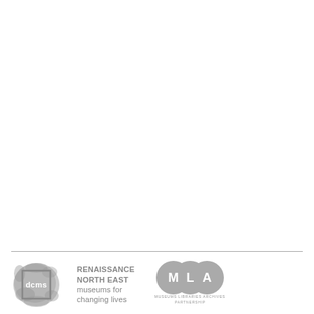[Figure (logo): DCMS logo - a textured ink-blot style graphic with a square containing 'dcms' text in white]
RENAISSANCE NORTH EAST museums for changing lives
[Figure (logo): MLA logo - three overlapping circles containing letters M, L, A with text 'MUSEUMS LIBRARIES ARCHIVES PARTNERSHIP' below]